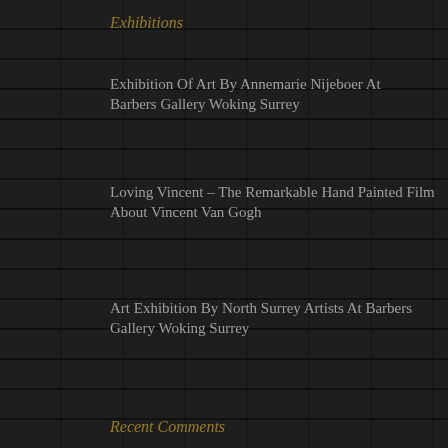Exhibitions
Exhibition Of Art By Annemarie Nijeboer At Barbers Gallery Woking Surrey
Loving Vincent – The Remarkable Hand Painted Film About Vincent Van Gogh
Art Exhibition By North Surrey Artists At Barbers Gallery Woking Surrey
Recent Comments
Archives
December 2020
January 2019
November 2017